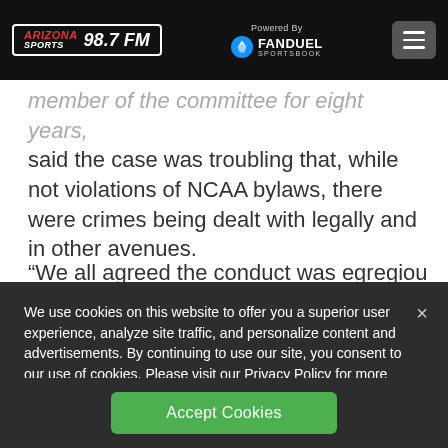Arizona Sports 98.7 FM | Powered By FanDuel Sportsbook
member of the committee for eight years, said the case was troubling that, while not violations of NCAA bylaws, there were crimes being dealt with legally and in other avenues.
“We all agreed the conduct was egregious. In
We use cookies on this website to offer you a superior user experience, analyze site traffic, and personalize content and advertisements. By continuing to use our site, you consent to our use of cookies. Please visit our Privacy Policy for more information.
Accept Cookies